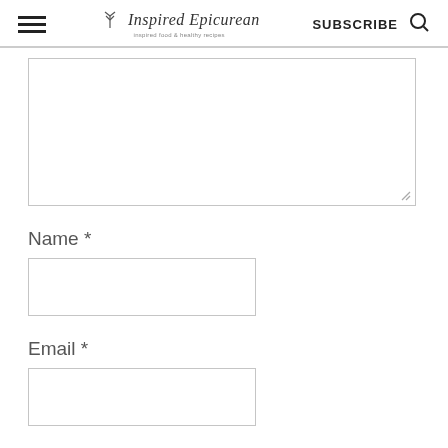Inspired Epicurean | SUBSCRIBE
[Figure (screenshot): Large textarea input box for comment/message entry, partially visible at top of content area]
Name *
[Figure (screenshot): Text input box for Name field]
Email *
[Figure (screenshot): Text input box for Email field]